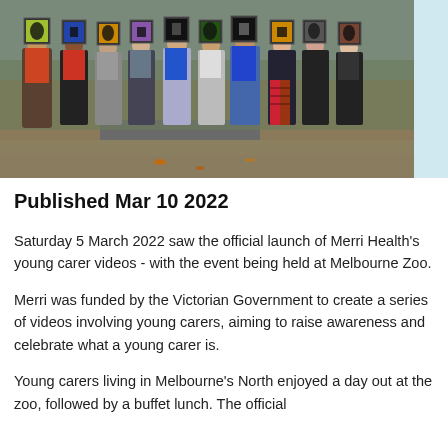[Figure (photo): Group photo of young people standing outdoors, each holding up a framed picture with an animal silhouette. They are on a paved path with grasses in the background. The event is at Melbourne Zoo.]
Published Mar 10 2022
Saturday 5 March 2022 saw the official launch of Merri Health's young carer videos - with the event being held at Melbourne Zoo.
Merri was funded by the Victorian Government to create a series of videos involving young carers, aiming to raise awareness and celebrate what a young carer is.
Young carers living in Melbourne's North enjoyed a day out at the zoo, followed by a buffet lunch. The official